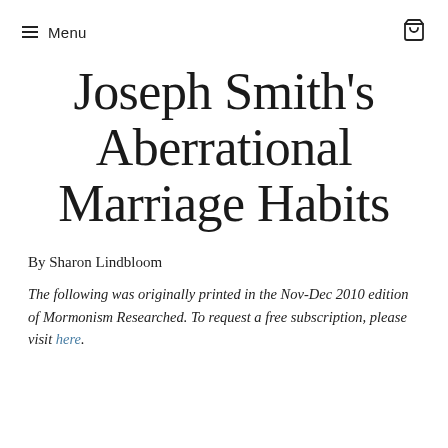Menu
Joseph Smith's Aberrational Marriage Habits
By Sharon Lindbloom
The following was originally printed in the Nov-Dec 2010 edition of Mormonism Researched. To request a free subscription, please visit here.